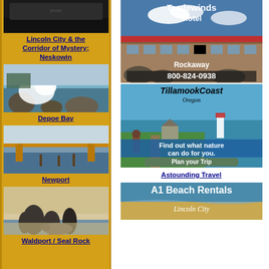[Figure (photo): Dark coastal scenery photo at top of left column]
Lincoln City & the Corridor of Mystery; Neskowin
[Figure (photo): Ocean waves crashing on rocks at Depoe Bay]
Depoe Bay
[Figure (photo): Bridge over water at Newport]
Newport
[Figure (photo): Sea stacks and seal at Waldport/Seal Rock]
Waldport / Seal Rock
[Figure (photo): Tradewinds Motel advertisement showing motel building, Rockaway, phone 800-824-0938]
[Figure (photo): Tillamook Coast Oregon advertisement - Find out what nature can do for you. Plan your Trip.]
Astounding Travel
[Figure (photo): A1 Beach Rentals Lincoln City advertisement]